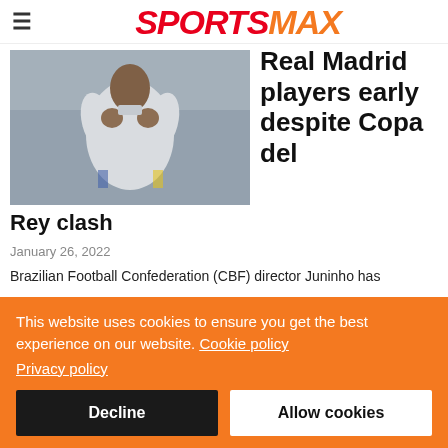SPORTSMAX
[Figure (photo): Soccer player in white Real Madrid kit adjusting collar, action photo]
Real Madrid players early despite Copa del Rey clash
January 26, 2022
Brazilian Football Confederation (CBF) director Juninho has
This website uses cookies to ensure you get the best experience on our website. Cookie policy Privacy policy